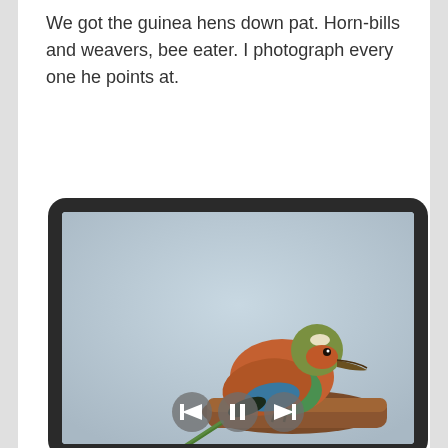We got the guinea hens down pat. Horn-bills and weavers, bee eater. I photograph every one he points at.
[Figure (screenshot): A tablet device displaying a photo of a colorful bird (lilac-breasted roller) perched on a branch, with playback controls (back, pause, forward) visible at the bottom of the screen.]